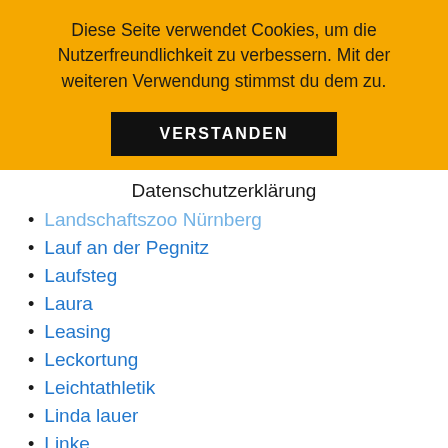Diese Seite verwendet Cookies, um die Nutzerfreundlichkeit zu verbessern. Mit der weiteren Verwendung stimmst du dem zu.
VERSTANDEN
Datenschutzerklärung
Landschaftszoo Nürnberg
Lauf an der Pegnitz
Laufsteg
Laura
Leasing
Leckortung
Leichtathletik
Linda lauer
Linke